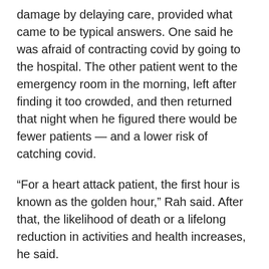damage by delaying care, provided what came to be typical answers. One said he was afraid of contracting covid by going to the hospital. The other patient went to the emergency room in the morning, left after finding it too crowded, and then returned that night when he figured there would be fewer patients — and a lower risk of catching covid.
“For a heart attack patient, the first hour is known as the golden hour,” Rah said. After that, the likelihood of death or a lifelong reduction in activities and health increases, he said.
Dr. JP Valin, executive vice president and chief clinical officer at SCL Health of Colorado and Montana, said he is “kept awake at night” by delays in important medical tests. “People put off routine breast examinations, and there are going to be some cancers hiding that are not going to be identified...